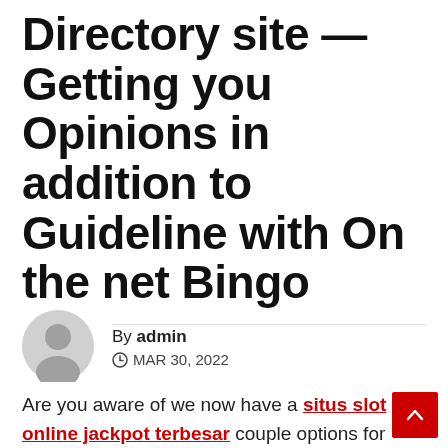Directory site — Getting you Opinions in addition to Guideline with On the net Bingo
By admin
MAR 30, 2022
Are you aware of we now have a situs slot online jackpot terbesar couple options for taking part in your best gambling house video